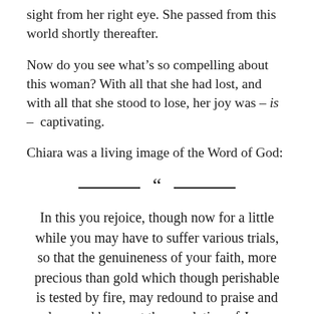sight from her right eye. She passed from this world shortly thereafter.
Now do you see what’s so compelling about this woman? With all that she had lost, and with all that she stood to lose, her joy was – is – captivating.
Chiara was a living image of the Word of God:
“
In this you rejoice, though now for a little while you may have to suffer various trials, so that the genuineness of your faith, more precious than gold which though perishable is tested by fire, may redound to praise and glory and honor at the revelation of Jesus Christ. Without having seen him you love him; though you do not now see him you believe in him and